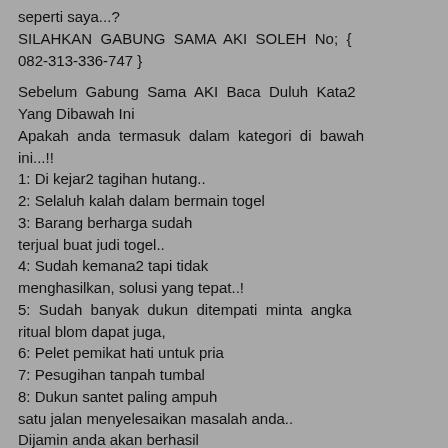seperti saya...?
SILAHKAN GABUNG SAMA AKI SOLEH No; { 082-313-336-747 }
Sebelum Gabung Sama AKI Baca Duluh Kata2 Yang Dibawah Ini
Apakah anda termasuk dalam kategori di bawah ini...!!
1: Di kejar2 tagihan hutang..
2: Selaluh kalah dalam bermain togel
3: Barang berharga sudah terjual buat judi togel..
4: Sudah kemana2 tapi tidak menghasilkan, solusi yang tepat..!
5: Sudah banyak dukun ditempati minta angka ritual blom dapat juga,
6: Pelet pemikat hati untuk pria
7: Pesugihan tanpah tumbal
8: Dukun santet paling ampuh satu jalan menyelesaikan masalah anda..
Dijamin anda akan berhasil
silahkan buktikan sendiri
Atau Chat/Tlpn di WhatsApp (WA)